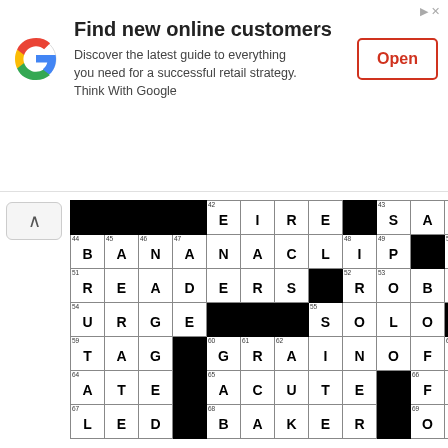[Figure (other): Google ad banner: Find new online customers. Discover the latest guide to everything you need for a successful retail strategy. Think With Google. Open button.]
[Figure (other): Partial crossword puzzle grid showing rows with words: EIRE, SAUNA, BANANACLIP, STEM, READERS, ROBES, URGE, SOLO, MEH, TAG, GRAINOFSALT, ATE, ACUTE, FIRST, LED, BAKER, ONTAP. Various black squares and clue numbers visible.]
Here is the complete list of clues and answers for the Wednesday August 10th 2022, LA Times crossword puzzle.
ACROSS